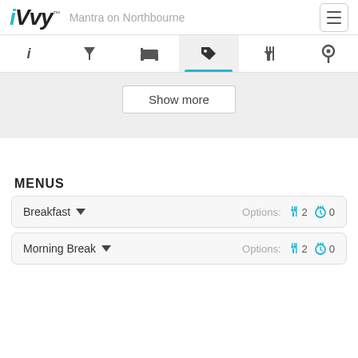iVvy — Mantra on Northbourne
[Figure (screenshot): Navigation tab bar with icons: info (i), filter (cocktail glass), bed, price tag (active/selected with blue underline), cutlery, location pin]
[Figure (screenshot): Show more button on grey background]
MENUS
Breakfast — Options: 2 (cutlery) 0 (beverage)
Morning Break — Options: 2 (cutlery) 0 (beverage)